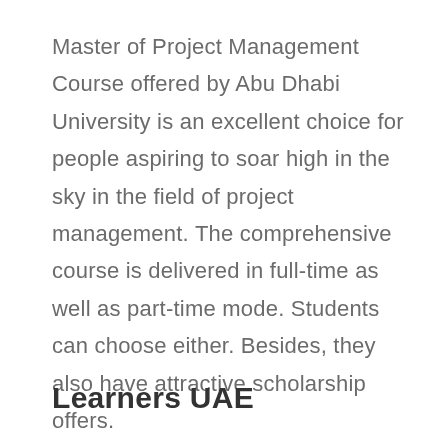Master of Project Management Course offered by Abu Dhabi University is an excellent choice for people aspiring to soar high in the sky in the field of project management. The comprehensive course is delivered in full-time as well as part-time mode. Students can choose either. Besides, they also have attractive scholarship offers.
Learners UAE